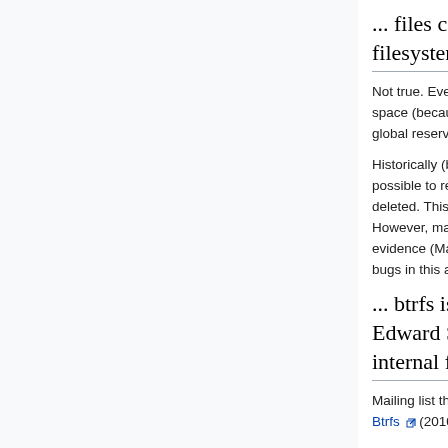... files cannot be deleted once the filesystem is full
Not true. Even though the deletion requires some extra space (because of the copy-on-write design), there is a global reserve that is used for this type of operation.
Historically (before about 3.16 or so), it was indeed possible to reach a situation where files could not be deleted. This was due to bugs in the handling of space. However, many of these bugs have been fixed, and current evidence (May 2015) suggests that if there are remaining bugs in this area, they are very, very hard to hit.
... btrfs is broken by design (aka. Edward Shishkin's "Unbound(?) internal fragmentation in Btrfs")
Mailing list thread Unbound(?) internal fragmentation in Btrfs (2010)